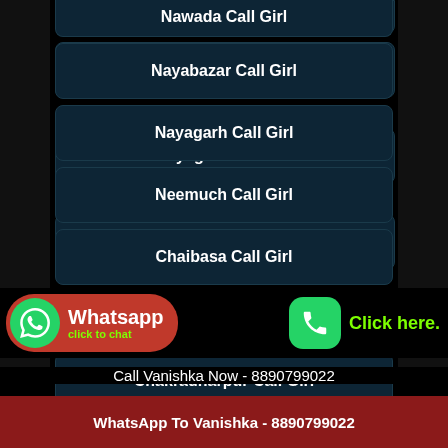Nawada Call Girl
Nayabazar Call Girl
Nayagarh Call Girl
Neemuch Call Girl
Chaibasa Call Girl
Chail Call Girl
Chakradharpur Call Girl
Chakrata Call Girl
Whatsapp click to chat
Click here.
Call Vanishka Now - 8890799022
WhatsApp To Vanishka - 8890799022